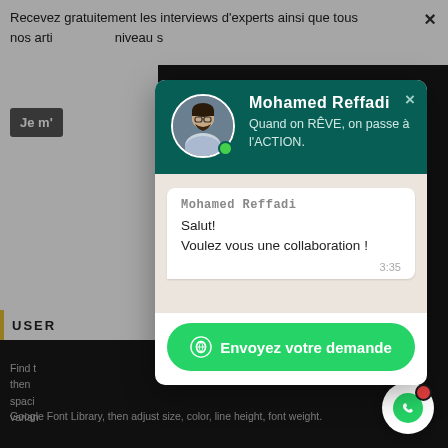Recevez gratuitement les interviews d'experts ainsi que tous nos arti... niveau s...
Je m'...
[Figure (screenshot): WhatsApp chat widget popup showing Mohamed Reffadi profile with green header, chat bubble saying 'Salut! Voulez vous une collaboration !' at 3:35, and a green 'Envoyez votre demande' button]
Mohamed Reffadi
Quand on RÊVE, on passe à l'ACTION.
Mohamed Reffadi
Salut!
Voulez vous une collaboration !
3:35
Envoyez votre demande
USER
Find t... then ... spaci... varian... Google Font Library, then adjust size, color, line height, font weight.